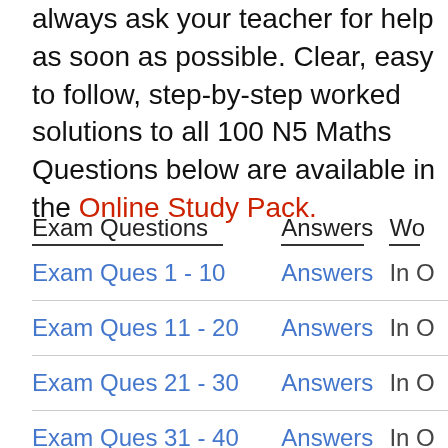always ask your teacher for help as soon as possible. Clear, easy to follow, step-by-step worked solutions to all 100 N5 Maths Questions below are available in the Online Study Pack.
| Exam Questions | Answers | Wo |
| --- | --- | --- |
| Exam Ques 1 - 10 | Answers | In O |
| Exam Ques 11 - 20 | Answers | In O |
| Exam Ques 21 - 30 | Answers | In O |
| Exam Ques 31 - 40 | Answers | In O |
| Exam Ques 41 - 50 | Answers | In O |
| Exam Ques 51 - 60 | Answers | In O |